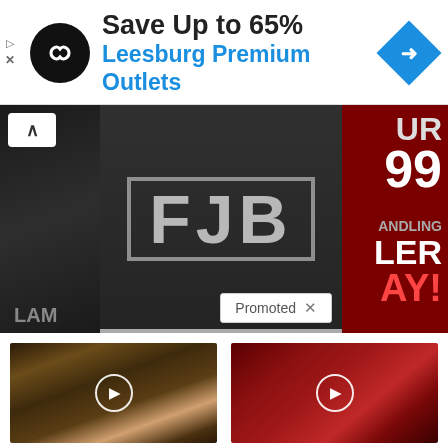[Figure (screenshot): Ad banner with black circular logo with infinity symbol, text 'Save Up to 65%' and 'Leesburg Premium Outlets' in blue, blue diamond navigation icon on the right, play and close controls on the left]
[Figure (photo): Dark background image showing a t-shirt with 'FJB' text in distressed block letters, partially visible text on the right side showing '99', 'ANDLING', 'LER', 'AY!' on a dark red background, left panel shows dark fabric. A 'Promoted X' badge overlay appears at bottom right, and a chevron-up button at top left.]
[Figure (photo): Close-up photo of a person with tea bags held over their eyes for vision treatment video thumbnail with play button overlay]
Doctor Stunned: This Treatment REVERSES Vision Loss (Watch)
199
[Figure (photo): Photo of sliced red beets on a red plate, video thumbnail with play button overlay]
Itchy Skin? Signs Your Liver Is In Trouble
1,893